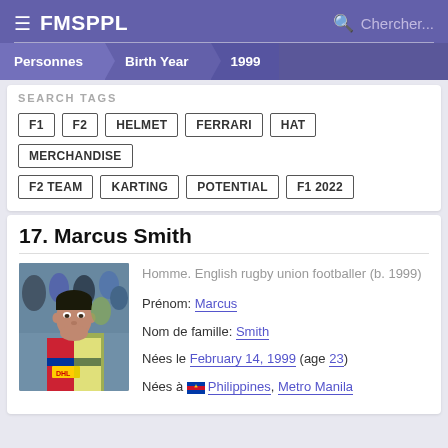FMSPPL   Chercher...
Personnes > Birth Year > 1999
SEARCH TAGS
F1
F2
HELMET
FERRARI
HAT
MERCHANDISE
F2 TEAM
KARTING
POTENTIAL
F1 2022
17. Marcus Smith
[Figure (photo): Photo of Marcus Smith, English rugby union footballer, wearing Harlequins jersey]
Homme. English rugby union footballer (b. 1999)
Prénom: Marcus
Nom de famille: Smith
Nées le February 14, 1999 (age 23)
Nées à Philippines, Metro Manila